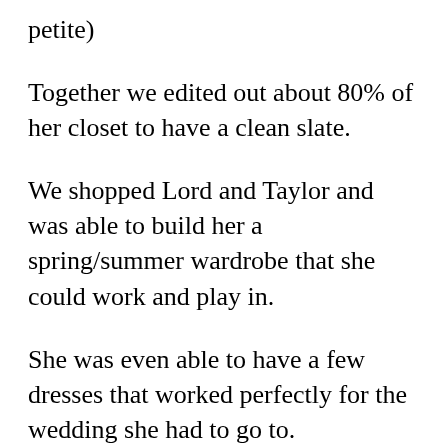petite)
Together we edited out about 80% of her closet to have a clean slate.
We shopped Lord and Taylor and was able to build her a spring/summer wardrobe that she could work and play in.
She was even able to have a few dresses that worked perfectly for the wedding she had to go to.